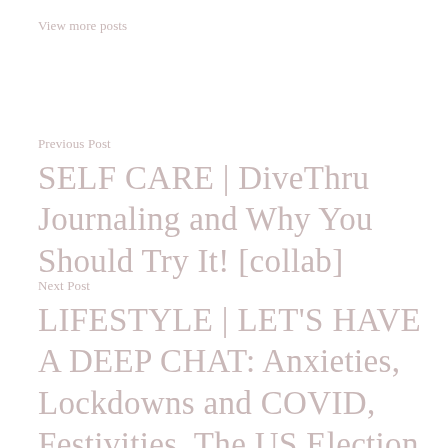View more posts
Previous Post
SELF CARE | DiveThru Journaling and Why You Should Try It! [collab]
Next Post
LIFESTYLE | LET'S HAVE A DEEP CHAT: Anxieties, Lockdowns and COVID, Festivities, The US Election, and The Future For Change